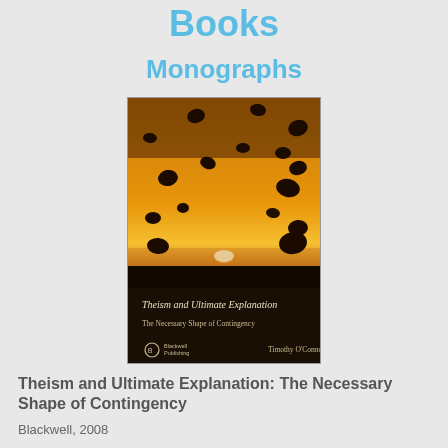Books
Monographs
[Figure (photo): Book cover of 'Theism and Ultimate Explanation: The Necessary Shape of Contingency' by Timothy O'Connor, published by Blackwell Publishing. The cover shows a dramatic image of rocks or asteroids floating against a glowing orange sky with a bright sun or light source at the horizon.]
Theism and Ultimate Explanation: The Necessary Shape of Contingency
Blackwell, 2008